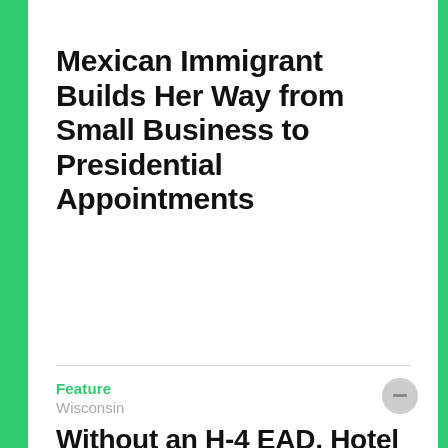Mexican Immigrant Builds Her Way from Small Business to Presidential Appointments
Feature
Wisconsin
Without an H-4 EAD, Hotel Owner Could Lose Business, Fire U.S. Workers
Feature
Texas